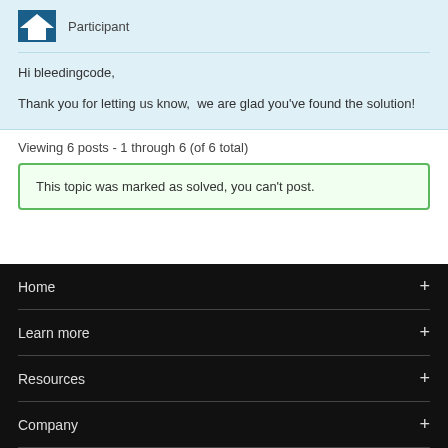[Figure (illustration): User avatar icon - blue house/person silhouette]
Participant
Hi bleedingcode,

Thank you for letting us know,  we are glad you've found the solution!
Viewing 6 posts - 1 through 6 (of 6 total)
This topic was marked as solved, you can't post.
Home +
Learn more +
Resources +
Company +